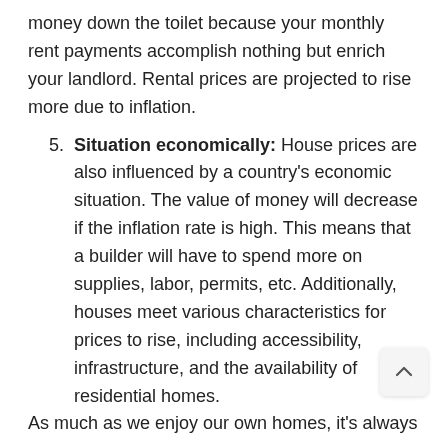money down the toilet because your monthly rent payments accomplish nothing but enrich your landlord. Rental prices are projected to rise more due to inflation.
5. Situation economically: House prices are also influenced by a country's economic situation. The value of money will decrease if the inflation rate is high. This means that a builder will have to spend more on supplies, labor, permits, etc. Additionally, houses meet various characteristics for prices to rise, including accessibility, infrastructure, and the availability of residential homes.
As much as we enjoy our own homes, it's always